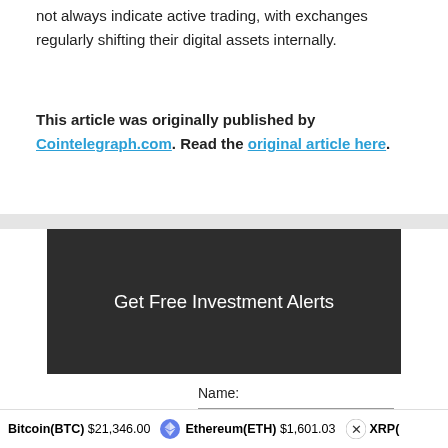not always indicate active trading, with exchanges regularly shifting their digital assets internally.
This article was originally published by Cointelegraph.com. Read the original article here.
[Figure (other): Dark banner with text 'Get Free Investment Alerts']
Name:
Bitcoin(BTC) $21,346.00  Ethereum(ETH) $1,601.03  XRP(